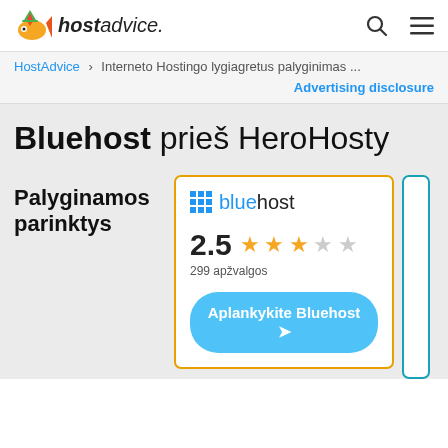hostadvice.
HostAdvice > Interneto Hostingo lygiagretus palyginimas ...
Advertising disclosure
Bluehost prieš HeroHosty
Palyginamos parinktys
bluehost
2.5 299 apžvalgos
Aplankykite Bluehost